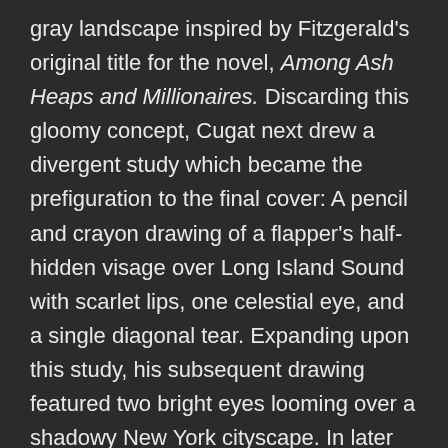gray landscape inspired by Fitzgerald's original title for the novel, Among Ash Heaps and Millionaires. Discarding this gloomy concept, Cugat next drew a divergent study which became the prefiguration to the final cover: A pencil and crayon drawing of a flapper's half-hidden visage over Long Island Sound with scarlet lips, one celestial eye, and a single diagonal tear. Expanding upon this study, his subsequent drawing featured two bright eyes looming over a shadowy New York cityscape. In later iterations, Cugat replaced the shadowy cityscape with dazzling carnival lights evoking a Ferris wheel and likely referencing the glittering amusement park at New York's Coney Island. Cugat affixed reclining nudes within the flapper's irises and added a green tint to the streaming tear. Cugat's final cover,[k] which Max Perkins hailed as a masterpiece, was the only work he completed for Scribner's and the only